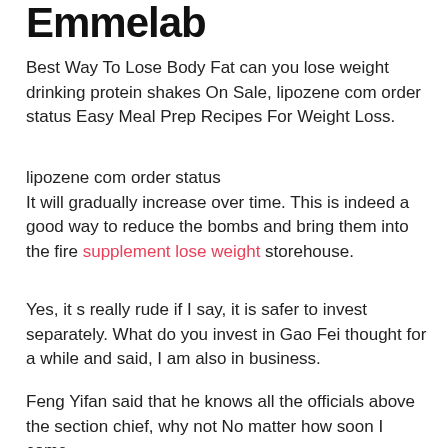Emmelab
Best Way To Lose Body Fat can you lose weight drinking protein shakes On Sale, lipozene com order status Easy Meal Prep Recipes For Weight Loss.
lipozene com order status
It will gradually increase over time. This is indeed a good way to reduce the bombs and bring them into the fire supplement lose weight storehouse.
Yes, it s really rude if I say, it is safer to invest separately. What do you invest in Gao Fei thought for a while and said, I am also in business.
Feng Yifan said that he knows all the officials above the section chief, why not No matter how soon I come.